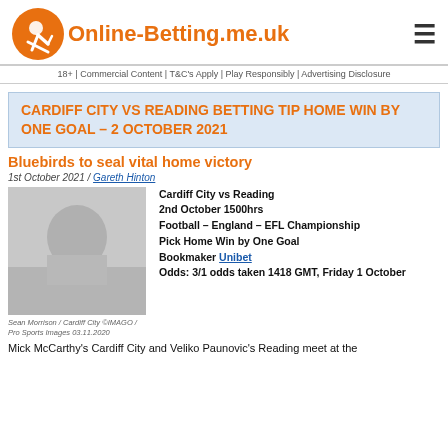Online-Betting.me.uk
18+ | Commercial Content | T&C's Apply | Play Responsibly | Advertising Disclosure
CARDIFF CITY VS READING BETTING TIP HOME WIN BY ONE GOAL – 2 OCTOBER 2021
Bluebirds to seal vital home victory
1st October 2021 / Gareth Hinton
[Figure (photo): Photo of Sean Morrison / Cardiff City player]
Sean Morrison / Cardiff City ©IMAGO / Pro Sports Images 03.11.2020
Cardiff City vs Reading
2nd October 1500hrs
Football – England – EFL Championship
Pick Home Win by One Goal
Bookmaker Unibet
Odds: 3/1 odds taken 1418 GMT, Friday 1 October
Mick McCarthy's Cardiff City and Veliko Paunovic's Reading meet at the